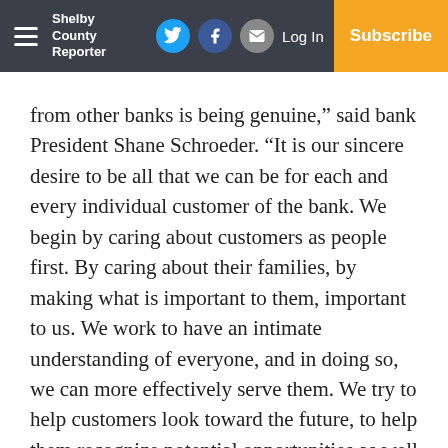Shelby County Reporter — Log In | Subscribe
from other banks is being genuine,” said bank President Shane Schroeder. “It is our sincere desire to be all that we can be for each and every individual customer of the bank. We begin by caring about customers as people first. By caring about their families, by making what is important to them, important to us. We work to have an intimate understanding of everyone, and in doing so, we can more effectively serve them. We try to help customers look toward the future, to help them recognize potential opportunities as well as helping avoid potential pitfalls. We have built a team of co-